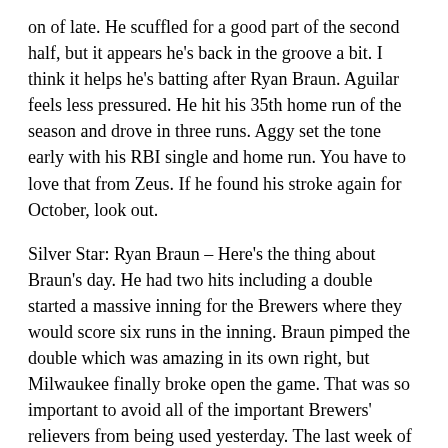on of late. He scuffled for a good part of the second half, but it appears he's back in the groove a bit. I think it helps he's batting after Ryan Braun. Aguilar feels less pressured. He hit his 35th home run of the season and drove in three runs. Aggy set the tone early with his RBI single and home run. You have to love that from Zeus. If he found his stroke again for October, look out.
Silver Star: Ryan Braun – Here's the thing about Braun's day. He had two hits including a double started a massive inning for the Brewers where they would score six runs in the inning. Braun pimped the double which was amazing in its own right, but Milwaukee finally broke open the game. That was so important to avoid all of the important Brewers' relievers from being used yesterday. The last week of Braun has been something to marvel at.
Honorable Mention: Gio Gonzalez – Even though Gio did not have his best stuff, he did what he needed to do on